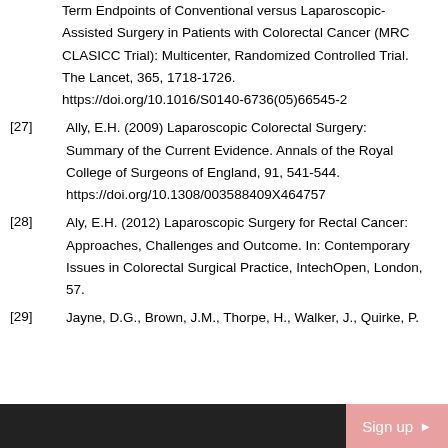Term Endpoints of Conventional versus Laparoscopic-Assisted Surgery in Patients with Colorectal Cancer (MRC CLASICC Trial): Multicenter, Randomized Controlled Trial. The Lancet, 365, 1718-1726. https://doi.org/10.1016/S0140-6736(05)66545-2
[27] Ally, E.H. (2009) Laparoscopic Colorectal Surgery: Summary of the Current Evidence. Annals of the Royal College of Surgeons of England, 91, 541-544. https://doi.org/10.1308/003588409X464757
[28] Aly, E.H. (2012) Laparoscopic Surgery for Rectal Cancer: Approaches, Challenges and Outcome. In: Contemporary Issues in Colorectal Surgical Practice, IntechOpen, London, 57.
[29] Jayne, D.G., Brown, J.M., Thorpe, H., Walker, J., Quirke, P.
Sign up